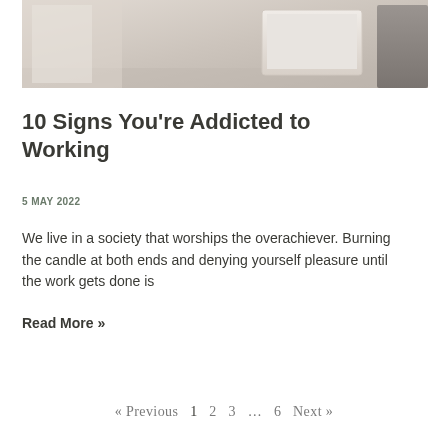[Figure (photo): Photo of a person working at a laptop on a desk, cropped to show the laptop and person's torso/hands in a light neutral-toned setting.]
10 Signs You're Addicted to Working
5 MAY 2022
We live in a society that worships the overachiever. Burning the candle at both ends and denying yourself pleasure until the work gets done is
Read More »
« Previous  1  2  3  …  6  Next »